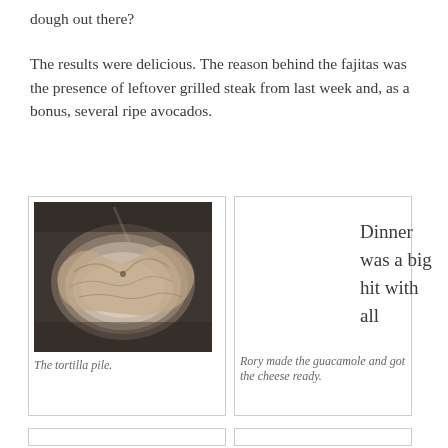dough out there?
The results were delicious. The reason behind the fajitas was the presence of leftover grilled steak from last week and, as a bonus, several ripe avocados.
[Figure (photo): A pile of tortillas stacked on a plate on a metal surface]
The tortilla pile.
[Figure (photo): Empty white card area with caption about Rory making guacamole]
Rory made the guacamole and got the cheese ready.
Dinner was a big hit with all